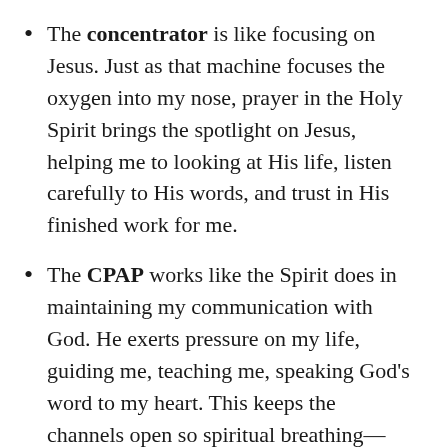The concentrator is like focusing on Jesus. Just as that machine focuses the oxygen into my nose, prayer in the Holy Spirit brings the spotlight on Jesus, helping me to looking at His life, listen carefully to His words, and trust in His finished work for me.
The CPAP works like the Spirit does in maintaining my communication with God. He exerts pressure on my life, guiding me, teaching me, speaking God’s word to my heart. This keeps the channels open so spiritual breathing—prayer and communication—can happen.